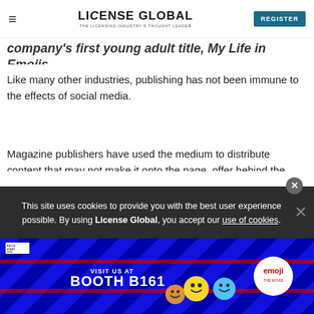LICENSE GLOBAL — THE LICENSING INDUSTRY'S THOUGHT LEADER | REGISTER
company's first young adult title, My Life in Emojis.
Like many other industries, publishing has not been immune to the effects of social media.
Magazine publishers have used the medium to distribute content that may not make it onto the page, offer behind the scenes looks at subjects and more; while book publishers have built fandoms and forged relationships with parenting and lifestyle influencers to promote their
This site uses cookies to provide you with the best user experience possible. By using License Global, you accept our use of cookies.
[Figure (photo): Advertisement banner: Visit us at Booth B161 with emoji branding, colorful diagonal striped background with emoji character mascots]